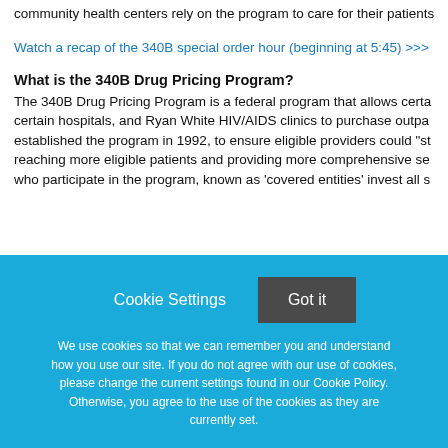community health centers rely on the program to care for their patients
Watch a recap of the 340B special order hour (beginning at 5:45) >>>
What is the 340B Drug Pricing Program?
The 340B Drug Pricing Program is a federal program that allows certain hospitals, and Ryan White HIV/AIDS clinics to purchase outpatient established the program in 1992, to ensure eligible providers could "st reaching more eligible patients and providing more comprehensive se who participate in the program, known as 'covered entities' invest all s
Cookie Settings   Got it
We use cookies so that we can remember you and understand how you use our site. If you do not agree with our use of cookies, please change the current settings found in our Cookie Policy. Otherwise, you agree to the use of the cookies as they are currently set.